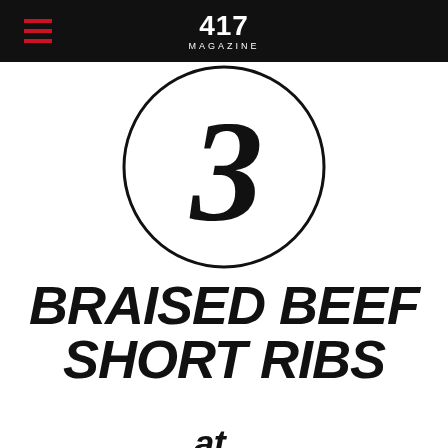417 MAGAZINE
[Figure (illustration): Large decorative numeral 3 enclosed in a circle, serif font, black on white background]
BRAISED BEEF SHORT RIBS